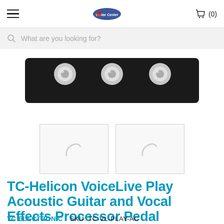TC ELECTRONIC — TC-Helicon VoiceLive Play Acoustic Guitar and Vocal Effects Processor Pedal — Cart (0)
[Figure (photo): Close-up photo of a black guitar/vocal effects pedal showing three chrome footswitches on a black metal housing, viewed from above/front.]
[Figure (photo): Two thumbnail placeholder images (loading spinners) for additional product views.]
TC-Helicon VoiceLive Play Acoustic Guitar and Vocal Effects Processor Pedal
TC ELECTRONIC   SKU: TC-VL-PLAY-AC